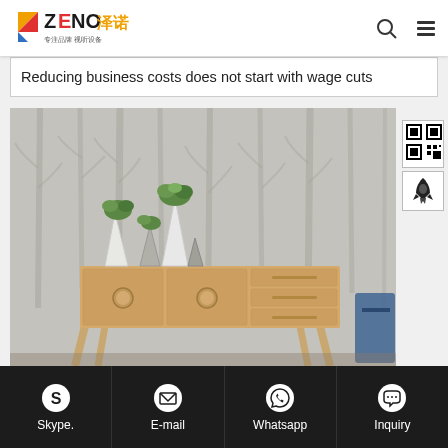ZENO 泽诺 专注品牌 视听设备
Reducing business costs does not start with wage cuts
[Figure (photo): Interior room scene with gray tree-patterned wallpaper background, a light wood sideboard/credenza with round knob handles on left doors and bar-pull handles on right drawers, decorated with white and gray geometric vases holding succulent plants]
Skype.  E-mail  Whatsapp  Inquiry